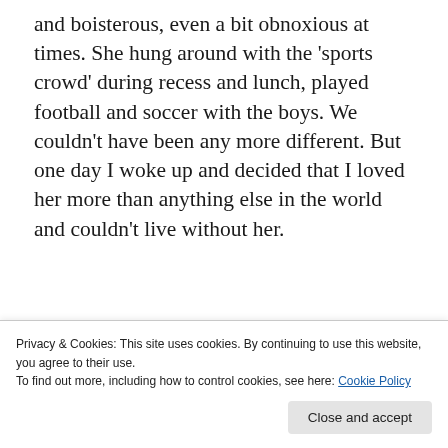and boisterous, even a bit obnoxious at times. She hung around with the 'sports crowd' during recess and lunch, played football and soccer with the boys. We couldn't have been any more different. But one day I woke up and decided that I loved her more than anything else in the world and couldn't live without her.
[Figure (other): WordPress app advertisement banner with text 'habit. Post on the go.' and 'GET THE APP' call to action with WordPress logo]
Privacy & Cookies: This site uses cookies. By continuing to use this website, you agree to their use.
To find out more, including how to control cookies, see here: Cookie Policy